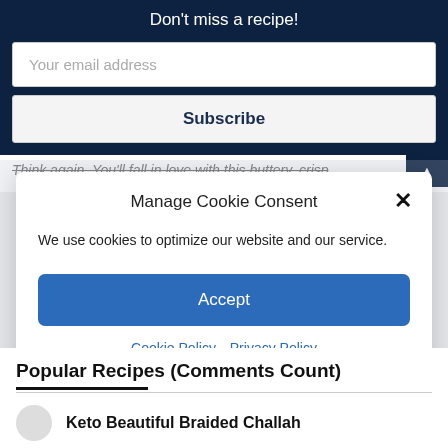Don't miss a recipe!
Your email address
Subscribe
Think again. You'll fall in love with this buttery, crisp
Manage Cookie Consent
We use cookies to optimize our website and our service.
Accept
Cookie Policy   Privacy Policy
Popular Recipes (Comments Count)
Keto Beautiful Braided Challah